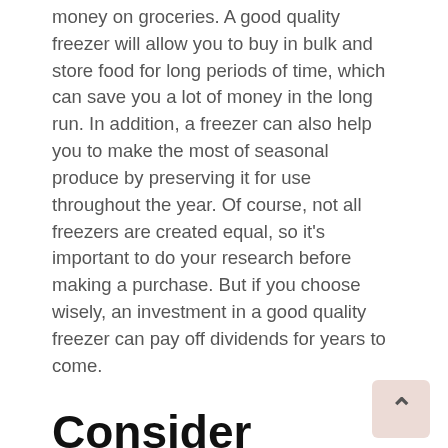money on groceries. A good quality freezer will allow you to buy in bulk and store food for long periods of time, which can save you a lot of money in the long run. In addition, a freezer can also help you to make the most of seasonal produce by preserving it for use throughout the year. Of course, not all freezers are created equal, so it's important to do your research before making a purchase. But if you choose wisely, an investment in a good quality freezer can pay off dividends for years to come.
Consider Planting a Garden
If you have the space, consider planting a garden so you can grow your own produce. This can be a great way to save money on groceries while also getting fresh, healthy food. Plus, it's a fun activity that the whole family can enjoy.